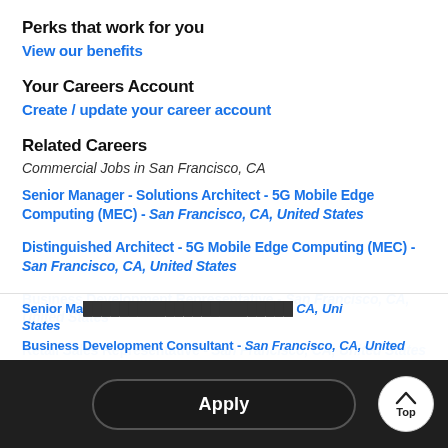Perks that work for you
View our benefits
Your Careers Account
Create / update your career account
Related Careers
Commercial Jobs in San Francisco, CA
Senior Manager - Solutions Architect - 5G Mobile Edge Computing (MEC) - San Francisco, CA, United States
Distinguished Architect - 5G Mobile Edge Computing (MEC) - San Francisco, CA, United States
Business Development Representative - San Francisco, CA, United States
Retail Sales Representative - San Francisco, CA, United States
Senior Manager - ... CA, United States
Business Development Consultant - San Francisco, CA, United...
Apply
Top